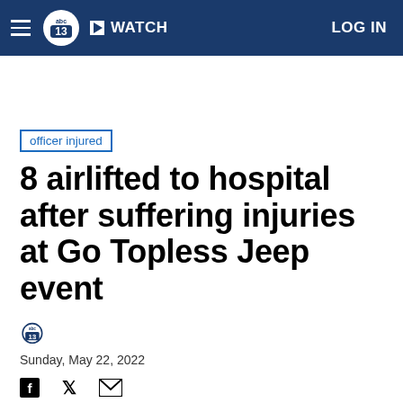abc13 WATCH LOG IN
officer injured
8 airlifted to hospital after suffering injuries at Go Topless Jeep event
Sunday, May 22, 2022
[Figure (logo): abc13 logo and social sharing icons (Facebook, Twitter, Email)]